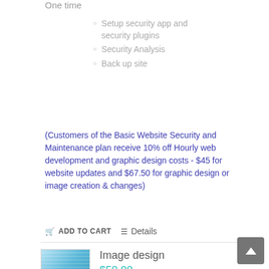One time
Setup security app and security plugins
Security Analysis
Back up site
(Customers of the Basic Website Security and Maintenance plan receive 10% off Hourly web development and graphic design costs - $45 for website updates and $67.50 for graphic design or image creation & changes)
ADD TO CART   Details
Image design
$50.00